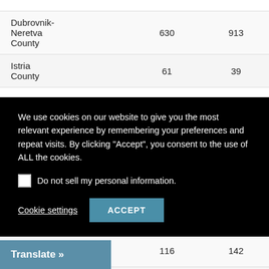| County | Col1 | Col2 |
| --- | --- | --- |
| Dubrovnik-Neretva County | 630 | 913 |
| Istria County | 61 | 39 |
| Lika-Senj County | 116 | 142 |
| Međimurje County | 172 | 181 |
We use cookies on our website to give you the most relevant experience by remembering your preferences and repeat visits. By clicking "Accept", you consent to the use of ALL the cookies.
Do not sell my personal information.
Cookie settings  ACCEPT
Translate »